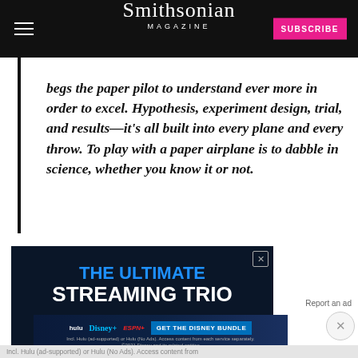Smithsonian MAGAZINE
begs the paper pilot to understand ever more in order to excel. Hypothesis, experiment design, trial, and results—it's all built into every plane and every throw. To play with a paper airplane is to dabble in science, whether you know it or not.
[Figure (other): Advertisement banner for 'The Ultimate Streaming Trio' (Hulu, Disney+, ESPN+) on dark navy background]
[Figure (other): Disney Bundle advertisement: Get The Disney Bundle - Incl. Hulu (ad-supported) or Hulu (No Ads). Access content from each service separately. ©2021 Disney and its related entities]